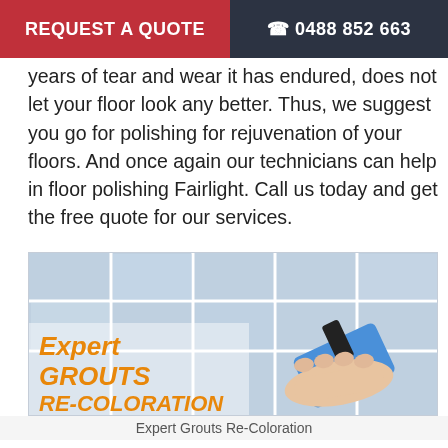REQUEST A QUOTE   ☎ 0488 852 663
years of tear and wear it has endured, does not let your floor look any better. Thus, we suggest you go for polishing for rejuvenation of your floors. And once again our technicians can help in floor polishing Fairlight. Call us today and get the free quote for our services.
[Figure (photo): Photo of blue tiles being cleaned/recolored with a blue squeegee tool, with bold orange italic text overlay reading 'Expert GROUTS RE-COLORATION']
Expert Grouts Re-Coloration